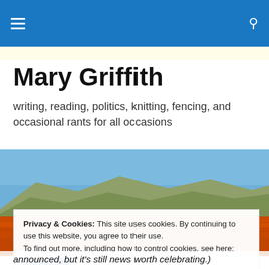Mary Griffith [navigation bar with menu and search icons]
Mary Griffith
writing, reading, politics, knitting, fencing, and occasional rants for all occasions
[Figure (photo): Landscape photo showing orange poppy fields in the foreground with brown hills and a blue sky in the background.]
Privacy & Cookies: This site uses cookies. By continuing to use this website, you agree to their use.
To find out more, including how to control cookies, see here: Cookie Policy
announced, but it's still news worth celebrating.)